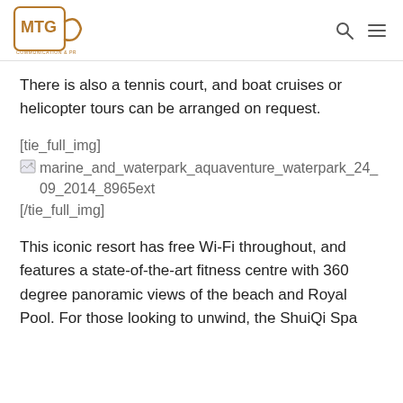MTG Communication & PR
There is also a tennis court, and boat cruises or helicopter tours can be arranged on request.
[tie_full_img]
marine_and_waterpark_aquaventure_waterpark_24_09_2014_8965ext
[/tie_full_img]
This iconic resort has free Wi-Fi throughout, and features a state-of-the-art fitness centre with 360 degree panoramic views of the beach and Royal Pool. For those looking to unwind, the ShuiQi Spa